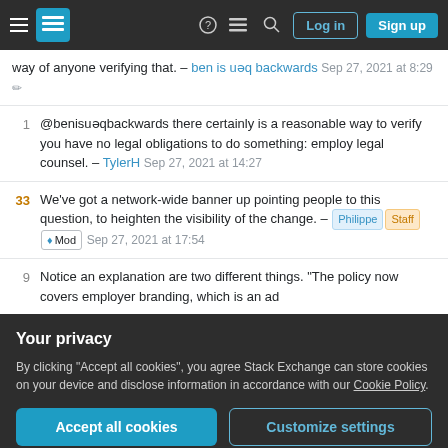Stack Exchange navigation bar with Log in and Sign up buttons
way of anyone verifying that. – ben is uəq backwards Sep 27, 2021 at 8:29
1 @benisuəqbackwards there certainly is a reasonable way to verify you have no legal obligations to do something: employ legal counsel. – TylerH Sep 27, 2021 at 14:27
33 We've got a network-wide banner up pointing people to this question, to heighten the visibility of the change. – Philippe Staff ♦ Mod Sep 27, 2021 at 17:54
9 Notice an explanation are two different things. "The policy now covers employer branding, which is an ad
Your privacy
By clicking "Accept all cookies", you agree Stack Exchange can store cookies on your device and disclose information in accordance with our Cookie Policy.
Accept all cookies   Customize settings
users of SE/O sites that visit the platform say once a